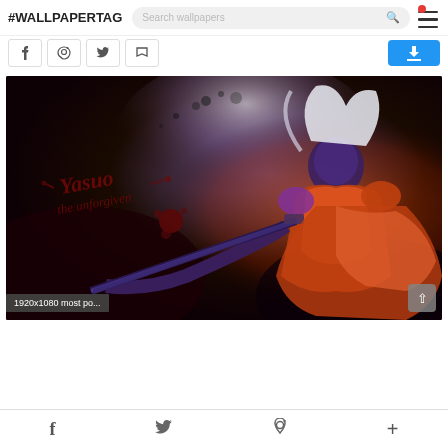#WALLPAPERTAG  Search wallpapers  [menu icon]
[Figure (screenshot): Social sharing buttons (Facebook, Pinterest, Twitter, Flag) and a blue download button]
[Figure (illustration): Fantasy warrior/ninja character (Yasuo the Unforgiven from League of Legends) holding a sword, with dark smoky background and blood splatter text logo. Label: 1920x1080 most po...]
f  [Twitter]  p  +